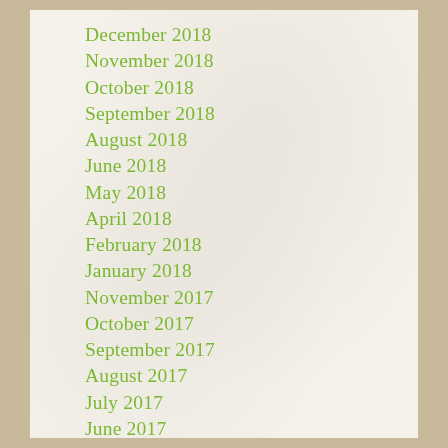December 2018
November 2018
October 2018
September 2018
August 2018
June 2018
May 2018
April 2018
February 2018
January 2018
November 2017
October 2017
September 2017
August 2017
July 2017
June 2017
May 2017
April 2017
March 2017
February 2017